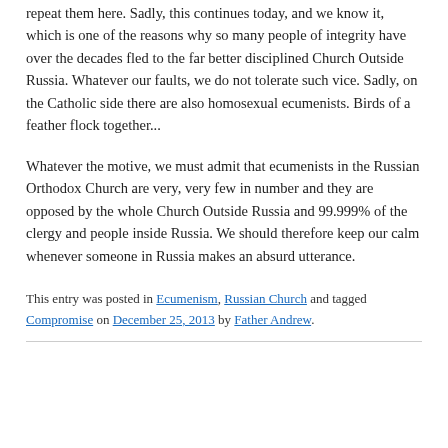repeat them here. Sadly, this continues today, and we know it, which is one of the reasons why so many people of integrity have over the decades fled to the far better disciplined Church Outside Russia. Whatever our faults, we do not tolerate such vice. Sadly, on the Catholic side there are also homosexual ecumenists. Birds of a feather flock together...
Whatever the motive, we must admit that ecumenists in the Russian Orthodox Church are very, very few in number and they are opposed by the whole Church Outside Russia and 99.999% of the clergy and people inside Russia. We should therefore keep our calm whenever someone in Russia makes an absurd utterance.
This entry was posted in Ecumenism, Russian Church and tagged Compromise on December 25, 2013 by Father Andrew.